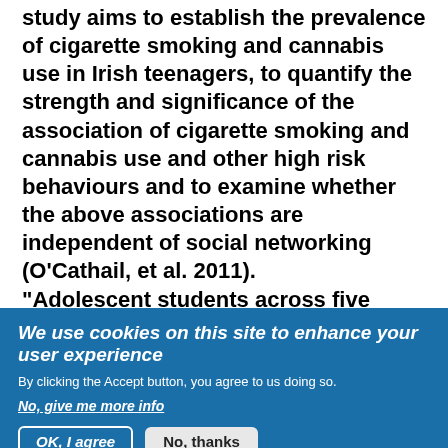study aims to establish the prevalence of cigarette smoking and cannabis use in Irish teenagers, to quantify the strength and significance of the association of cigarette smoking and cannabis use and other high risk behaviours and to examine whether the above associations are independent of social networking (O'Cathail, et al. 2011). "Adolescent students across five urban, non-fee paying, schools were invited to complete an abridged European schools survey project
We use cookies on this site to enhance your user experience
By clicking the Accept button, you agree to us doing so.
No, give me more info
OK, I agree
No, thanks